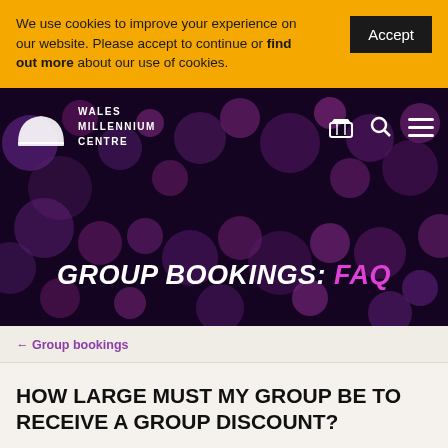We use cookies to improve your experience on our website. Please accept to continue or find out more about our use of cookies.
Accept
[Figure (screenshot): Wales Millennium Centre website header with bokeh purple/pink bokeh background. Logo on left showing white arch shape and text WALES MILLENNIUM CENTRE. Navigation icons (basket, search, menu) on right. Large italic bold white and magenta text reads GROUP BOOKINGS: FAQ.]
← Group bookings
HOW LARGE MUST MY GROUP BE TO RECEIVE A GROUP DISCOUNT?
Your group must consist of at least 10 people to be